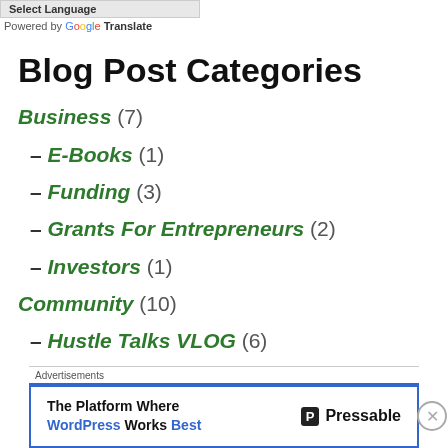Select Language
Powered by Google Translate
Blog Post Categories
Business (7)
– E-Books (1)
– Funding (3)
– Grants For Entrepreneurs (2)
– Investors (1)
Community (10)
– Hustle Talks VLOG (6)
Advertisements
The Platform Where WordPress Works Best — Pressable